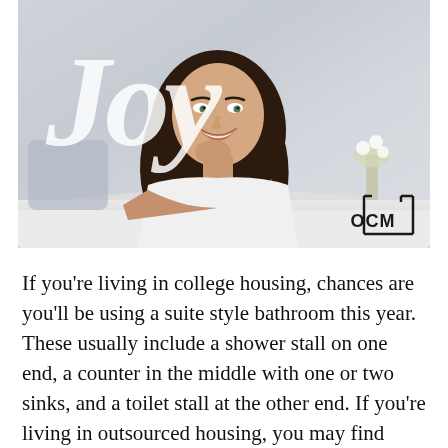[Figure (photo): Photo of a smiling young woman with long dark hair lying on a bed in a light-colored room, with a large cursive 'Joy' text overlay in white and an OCM logo in the bottom-right corner.]
If you're living in college housing, chances are you'll be using a suite style bathroom this year. These usually include a shower stall on one end, a counter in the middle with one or two sinks, and a toilet stall at the other end. If you're living in outsourced housing, you may find yourself in a hotel room, using a hotel